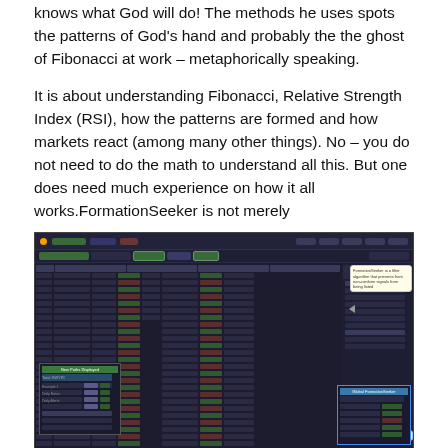knows what God will do! The methods he uses spots the patterns of God's hand and probably the the ghost of Fibonacci at work – metaphorically speaking.
It is about understanding Fibonacci, Relative Strength Index (RSI), how the patterns are formed and how markets react (among many other things). No – you do not need to do the math to understand all this. But one does need much experience on how it all works.FormationSeeker is not merely
[Figure (screenshot): Screenshot of the FormationSeeker trading platform showing a dark-themed interface with a data table of stock/financial instruments, popup dialogs, and a smiley emoji icon.]
a signals platform. That may be the perception amongst the inexperienced. Some so-called expert actually use harmonic